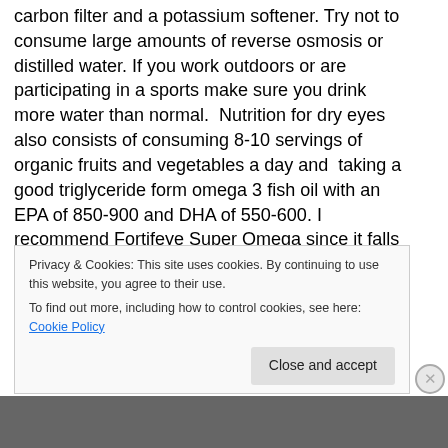install a commercial grade DI system, which would have a carbon filter and a potassium softener. Try not to consume large amounts of reverse osmosis or distilled water. If you work outdoors or are participating in a sports make sure you drink more water than normal.  Nutrition for dry eyes also consists of consuming 8-10 servings of  organic fruits and vegetables a day and  taking a good triglyceride form omega 3 fish oil with an EPA of 850-900 and DHA of 550-600. I recommend Fortifeye Super Omega since it falls in this range and is only $25 a bottle.
http://www.fortifeye.com  I have been involved  omega
Privacy & Cookies: This site uses cookies. By continuing to use this website, you agree to their use.
To find out more, including how to control cookies, see here: Cookie Policy